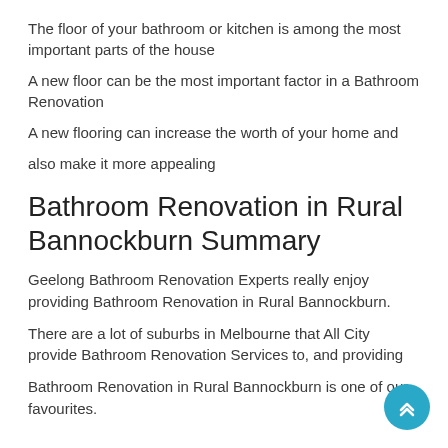The floor of your bathroom or kitchen is among the most important parts of the house
A new floor can be the most important factor in a Bathroom Renovation
A new flooring can increase the worth of your home and
also make it more appealing
Bathroom Renovation in Rural Bannockburn Summary
Geelong Bathroom Renovation Experts really enjoy providing Bathroom Renovation in Rural Bannockburn.
There are a lot of suburbs in Melbourne that All City provide Bathroom Renovation Services to, and providing
Bathroom Renovation in Rural Bannockburn is one of our favourites.